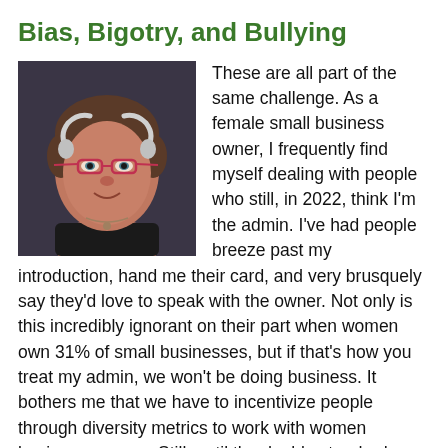Bias, Bigotry, and Bullying
[Figure (photo): Headshot photo of a woman with short hair, glasses with red frames, wearing headphones around her neck, smiling slightly, in a dark top with a necklace.]
These are all part of the same challenge. As a female small business owner, I frequently find myself dealing with people who still, in 2022, think I'm the admin. I've had people breeze past my introduction, hand me their card, and very brusquely say they'd love to speak with the owner. Not only is this incredibly ignorant on their part when women own 31% of small businesses, but if that's how you treat my admin, we won't be doing business. It bothers me that we have to incentivize people through diversity metrics to work with women business owners. Still, until the double standards evaporate (and this is true no